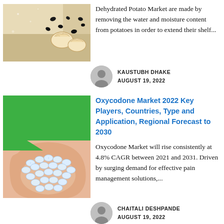[Figure (photo): Photo of dehydrated potato products including flour/powder and dumplings on a dark surface]
Dehydrated Potato Market are made by removing the water and moisture content from potatoes in order to extend their shelf...
[Figure (illustration): Avatar icon for author Kaustubh Dhake]
KAUSTUBH DHAKE
AUGUST 19, 2022
[Figure (photo): Photo of a hand holding small white round pills/tablets on a green background]
Oxycodone Market 2022 Key Players, Countries, Type and Application, Regional Forecast to 2030
Oxycodone Market will rise consistently at 4.8% CAGR between 2021 and 2031. Driven by surging demand for effective pain management solutions,...
[Figure (illustration): Avatar icon for author Chaitali Deshpande]
CHAITALI DESHPANDE
AUGUST 19, 2022